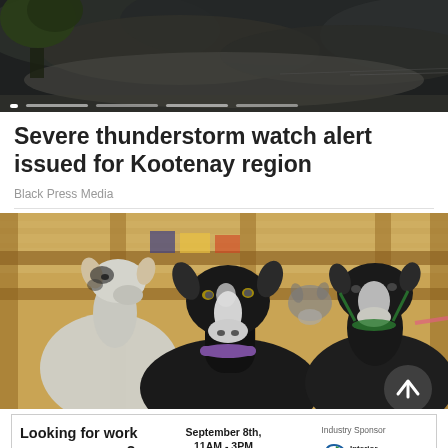[Figure (photo): Hero image: dark stormy sky with large dark clouds and a tree in the upper left, with image carousel indicators at the bottom]
Severe thunderstorm watch alert issued for Kootenay region
Black Press Media
[Figure (photo): Three goats in a wooden barn stall looking at the camera — one white/grey on the left, one black and white in the center foreground, and one black and white with a harness on the right]
[Figure (infographic): Advertisement banner: 'Looking for work or a new career? Featuring 15+ Exhibitors and Growing!' September 8th, 11AM-3PM, CLICK HERE button, Industry Sponsor Interior Health logo]